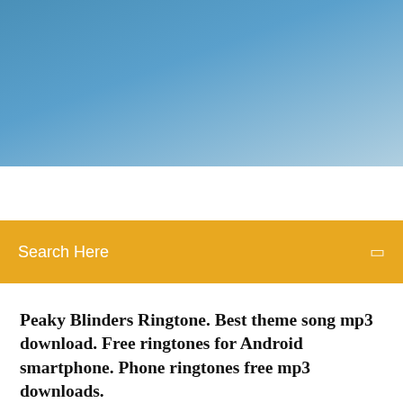[Figure (photo): Blue sky gradient banner at the top of the page]
Search Here
Peaky Blinders Ringtone. Best theme song mp3 download. Free ringtones for Android smartphone. Phone ringtones free mp3 downloads.
A criminal gang named Peaky Blinders is led by dangerous Thomas (Tommy) Shelby in the early 20th century. Download theme for Windows 10 / 8 / 8.1.  |
7 Comments
Peaky Blinders TV SHOW. Peaky Blinders TV Series – welcome